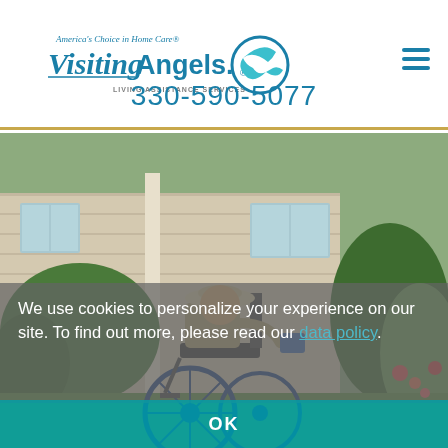[Figure (logo): Visiting Angels logo with bird and circle, tagline 'America's Choice in Home Care' and 'Living Assistance Services']
330-590-5077
[Figure (photo): Elderly person in wheelchair wearing a hat, outdoors near a house with plants and flowers, smiling]
We use cookies to personalize your experience on our site. To find out more, please read our data policy.
OK